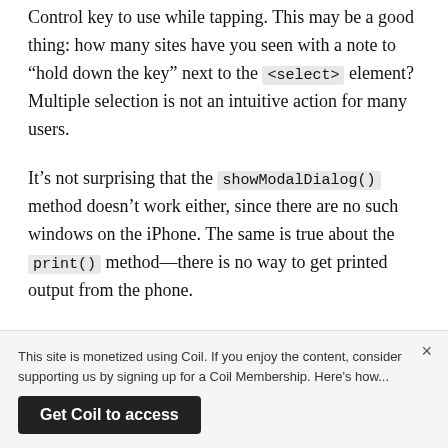Control key to use while tapping. This may be a good thing: how many sites have you seen with a note to “hold down the key” next to the <select> element? Multiple selection is not an intuitive action for many users.
It’s not surprising that the showModalDialog() method doesn’t work either, since there are no such windows on the iPhone. The same is true about the print() method—there is no way to get printed output from the phone.
This site is monetized using Coil. If you enjoy the content, consider supporting us by signing up for a Coil Membership. Here’s how...
Get Coil to access